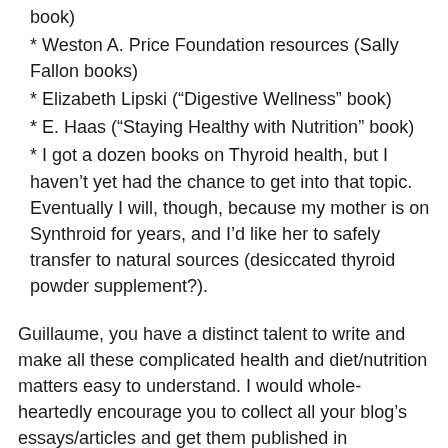book)
* Weston A. Price Foundation resources (Sally Fallon books)
* Elizabeth Lipski (“Digestive Wellness” book)
* E. Haas (“Staying Healthy with Nutrition” book)
* I got a dozen books on Thyroid health, but I haven’t yet had the chance to get into that topic. Eventually I will, though, because my mother is on Synthroid for years, and I’d like her to safely transfer to natural sources (desiccated thyroid powder supplement?).
Guillaume, you have a distinct talent to write and make all these complicated health and diet/nutrition matters easy to understand. I would whole-heartedly encourage you to collect all your blog’s essays/articles and get them published in